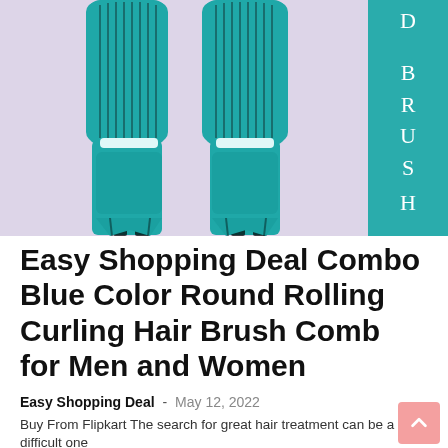[Figure (photo): Two teal/turquoise round rolling curling hair brush combs side by side against a light purple/pink background, with a teal banner on the right side showing vertical text 'D BRUSH']
Easy Shopping Deal Combo Blue Color Round Rolling Curling Hair Brush Comb for Men and Women
Easy Shopping Deal - May 12, 2022
Buy From Flipkart The search for great hair treatment can be a difficult one